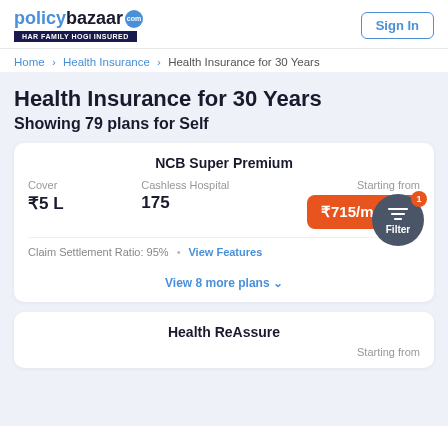policybazaar.com HAR FAMILY HOGI INSURED | Sign In
Home > Health Insurance > Health Insurance for 30 Years
Health Insurance for 30 Years
Showing 79 plans for Self
NCB Super Premium
Cover: ₹5 L
Cashless Hospital: 175
Starting from ₹715/month
Claim Settlement Ratio: 95%
View Features
View 8 more plans
Health ReAssure
Starting from